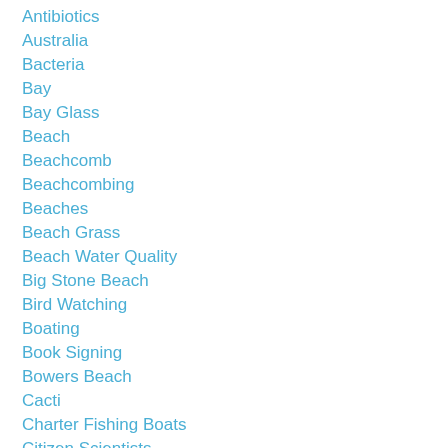Antibiotics
Australia
Bacteria
Bay
Bay Glass
Beach
Beachcomb
Beachcombing
Beaches
Beach Grass
Beach Water Quality
Big Stone Beach
Bird Watching
Boating
Book Signing
Bowers Beach
Cacti
Charter Fishing Boats
Citizen Scientists
Coast